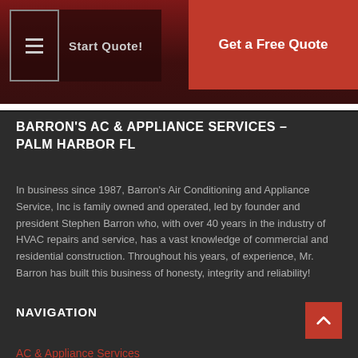☰ Start Quote!  |  Get a Free Quote
BARRON'S AC & APPLIANCE SERVICES – PALM HARBOR FL
In business since 1987, Barron's Air Conditioning and Appliance Service, Inc is family owned and operated, led by founder and president Stephen Barron who, with over 40 years in the industry of HVAC repairs and service, has a vast knowledge of commercial and residential construction. Throughout his years, of experience, Mr. Barron has built this business of honesty, integrity and reliability!
NAVIGATION
AC & Appliance Services